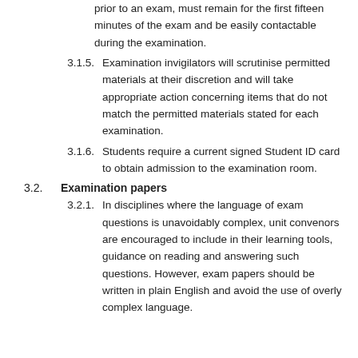prior to an exam, must remain for the first fifteen minutes of the exam and be easily contactable during the examination.
3.1.5. Examination invigilators will scrutinise permitted materials at their discretion and will take appropriate action concerning items that do not match the permitted materials stated for each examination.
3.1.6. Students require a current signed Student ID card to obtain admission to the examination room.
3.2. Examination papers
3.2.1. In disciplines where the language of exam questions is unavoidably complex, unit convenors are encouraged to include in their learning tools, guidance on reading and answering such questions. However, exam papers should be written in plain English and avoid the use of overly complex language.